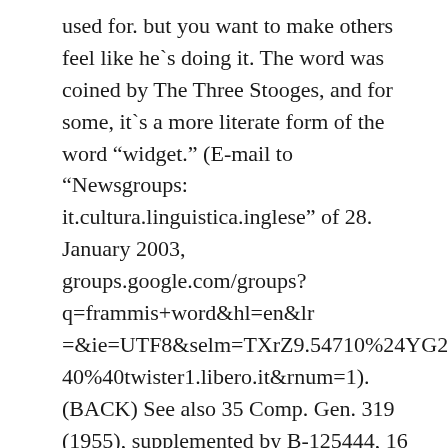used for. but you want to make others feel like he`s doing it. The word was coined by The Three Stooges, and for some, it`s a more literate form of the word “widget.” (E-mail to “Newsgroups: it.cultura.linguistica.inglese” of 28. January 2003, groups.google.com/groups?q=frammis+word&hl=en&lr=&ie=UTF8&selm=TXrZ9.54710%24YG2.1568240%40twister1.libero.it&rnum=1). (BACK) See also 35 Comp. Gen. 319 (1955), supplemented by B-125444, 16 February 1956 (Garden and window cleaning services). The second issue you raised concerned the financing of an inseparable service contract. Inseparable services represent a specific and complete task or a single company with a defined end product